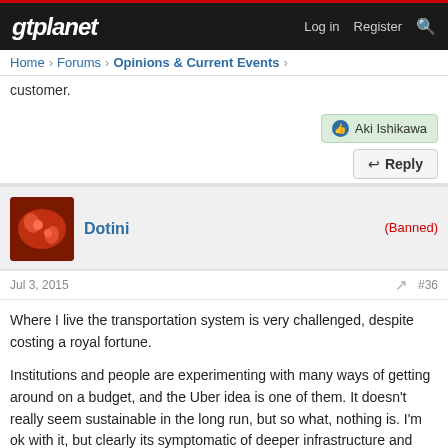gtplanet — Log in  Register
Home > Forums > Opinions & Current Events >
customer.
Aki Ishikawa
Reply
Dotini (Banned)
Jul 3, 2015  #36
Where I live the transportation system is very challenged, despite costing a royal fortune.

Institutions and people are experimenting with many ways of getting around on a budget, and the Uber idea is one of them. It doesn't really seem sustainable in the long run, but so what, nothing is. I'm ok with it, but clearly its symptomatic of deeper infrastructure and economic problems.